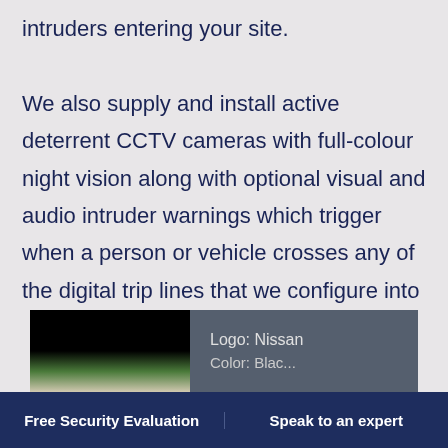intruders entering your site.
We also supply and install active deterrent CCTV cameras with full-colour night vision along with optional visual and audio intruder warnings which trigger when a person or vehicle crosses any of the digital trip lines that we configure into the cameras.
[Figure (screenshot): Partial screenshot showing a dark-colored image thumbnail on the left and text 'Logo: Nissan' on a grey background on the right]
Free Security Evaluation    Speak to an expert